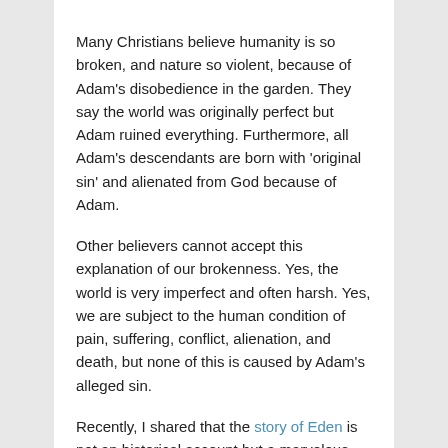Many Christians believe humanity is so broken, and nature so violent, because of Adam's disobedience in the garden. They say the world was originally perfect but Adam ruined everything. Furthermore, all Adam's descendants are born with 'original sin' and alienated from God because of Adam.
Other believers cannot accept this explanation of our brokenness. Yes, the world is very imperfect and often harsh. Yes, we are subject to the human condition of pain, suffering, conflict, alienation, and death, but none of this is caused by Adam's alleged sin.
Recently, I shared that the story of Eden is not an historical account but a marvelous reflection on our human condition. In the following article I determined that 'original sin' does not exist.
But if our problems are not caused by original sin,